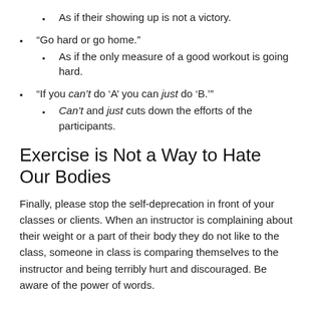As if their showing up is not a victory.
“Go hard or go home.”
As if the only measure of a good workout is going hard.
“If you can’t do ‘A’ you can just do ‘B.’”
Can’t and just cuts down the efforts of the participants.
Exercise is Not a Way to Hate Our Bodies
Finally, please stop the self-deprecation in front of your classes or clients. When an instructor is complaining about their weight or a part of their body they do not like to the class, someone in class is comparing themselves to the instructor and being terribly hurt and discouraged. Be aware of the power of words.